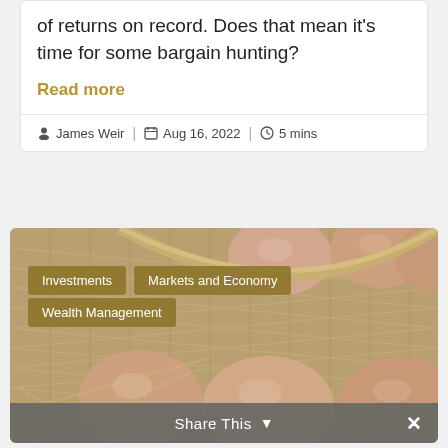of returns on record. Does that mean it's time for some bargain hunting?
Read more
James Weir | Aug 16, 2022 | 5 mins
[Figure (photo): Photo of brown eggs in a wicker basket with category tags overlaid: Investments, Markets and Economy, Wealth Management]
Share This